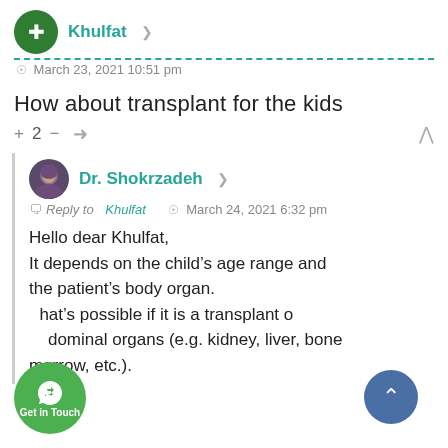Khulfat
March 23, 2021 10:51 pm
How about transplant for the kids
+ 2 −
Dr. Shokrzadeh
Reply to Khulfat    March 24, 2021 6:32 pm
Hello dear Khulfat,
It depends on the child's age range and the patient's body organ.
That's possible if it is a transplant of abdominal organs (e.g. kidney, liver, bone marrow, etc.).